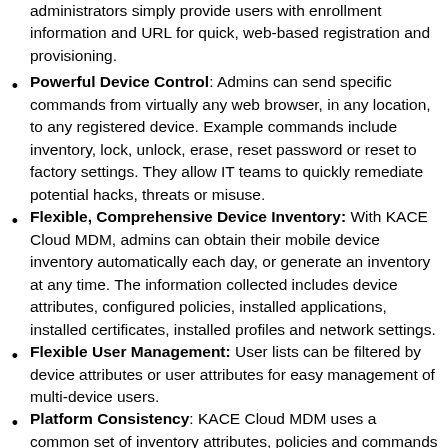administrators simply provide users with enrollment information and URL for quick, web-based registration and provisioning.
Powerful Device Control: Admins can send specific commands from virtually any web browser, in any location, to any registered device. Example commands include inventory, lock, unlock, erase, reset password or reset to factory settings. They allow IT teams to quickly remediate potential hacks, threats or misuse.
Flexible, Comprehensive Device Inventory: With KACE Cloud MDM, admins can obtain their mobile device inventory automatically each day, or generate an inventory at any time. The information collected includes device attributes, configured policies, installed applications, installed certificates, installed profiles and network settings.
Flexible User Management: User lists can be filtered by device attributes or user attributes for easy management of multi-device users.
Platform Consistency: KACE Cloud MDM uses a common set of inventory attributes, policies and commands for all devices across